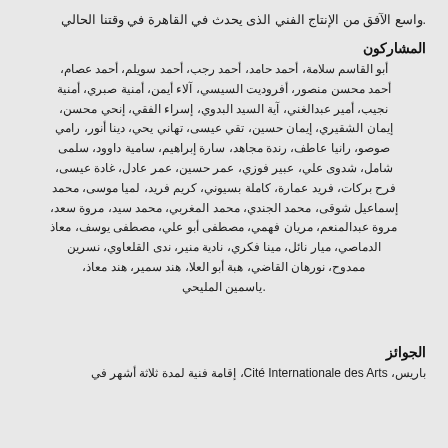.واسع الآفق من الإنتاج الفني الذى يحدث في القاهرة في وقتنا الحالي
المشاركون
أبو القاسم سلامة، أحمد حامد، أحمد رجب، أحمد سويلم، أحمد عصام، أحمد محسن منصور، أفروديت السيسي، آلاء أيمن، أمنية صبري، أمنية نجيب، أمير عبدالغني، آية السيد البدوي، إسراء الفقي، إنحي محسن، إيمان الشقيري، إيمان حسين، تقي عيسى، تهاني يحي، دينا أنور، رامي صوصو، رانيا عاطف، رندة مجاهد، سارة إبراهيم، سامية داوود، سلمى شامل، شدوى علي، عبير فوزي، عمر حسين، عمر عادل، عمر عيسى، غادة عيسى، فرح بركات، فريد عمارة، كاملة بسيوني، كريم فريد، لميا موسى، محمد إسماعيل شوقى، محمد الجندي، محمد المغربي، محمد سيد، مروة سعد، مروة عبدالمنعم، مريان فهمي، مصطفى أبو علي، مصطفى يوسف، معاذ الدماصي، ميار نائل، مينا فكري، نادية منير، ندى القلعاوي، نسرين ممدوح، نورهان القاضي، هبة أبو العلا، هند سمير، هند معاذ، ياسمين المليحي.
الجوائز
باريس، Cité Internationale des Arts، إقامة فنية لمدة ثلاثة أشهر في